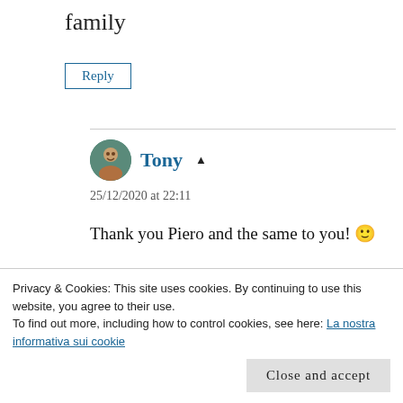family
Reply
Tony
25/12/2020 at 22:11
Thank you Piero and the same to you! 🙂
Reply
Privacy & Cookies: This site uses cookies. By continuing to use this website, you agree to their use.
To find out more, including how to control cookies, see here: La nostra informativa sui cookie
Close and accept